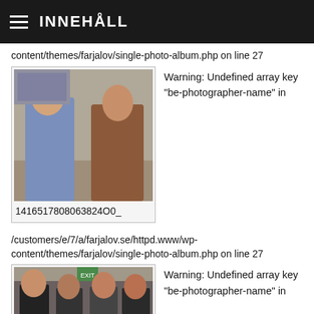INNEHÅLL
content/themes/farjalov/single-photo-album.php on line 27
[Figure (photo): Two people standing together at an indoor event, one holding a glass]
1416517808063824O0_
Warning: Undefined array key "be-photographer-name" in
/customers/e/7/a/farjalov.se/httpd.www/wp-content/themes/farjalov/single-photo-album.php on line 27
[Figure (photo): Group of four people standing together at an indoor event]
Warning: Undefined array key "be-photographer-name" in